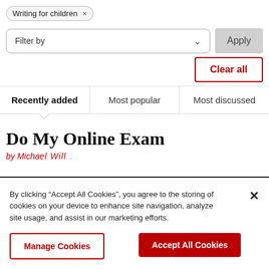Writing for children ×
Filter by
Apply
Clear all
Recently added | Most popular | Most discussed
Do My Online Exam
By clicking “Accept All Cookies”, you agree to the storing of cookies on your device to enhance site navigation, analyze site usage, and assist in our marketing efforts.
Manage Cookies
Accept All Cookies